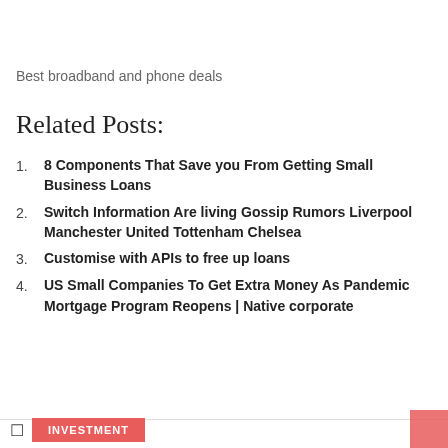Best broadband and phone deals
Related Posts:
8 Components That Save you From Getting Small Business Loans
Switch Information Are living Gossip Rumors Liverpool Manchester United Tottenham Chelsea
Customise with APIs to free up loans
US Small Companies To Get Extra Money As Pandemic Mortgage Program Reopens | Native corporate
INVESTMENT